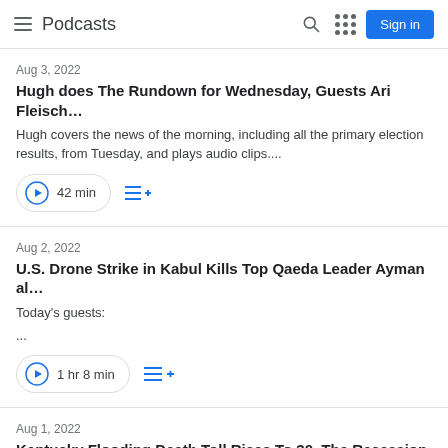Podcasts
Aug 3, 2022
Hugh does The Rundown for Wednesday, Guests Ari Fleisch…
Hugh covers the news of the morning, including all the primary election results, from Tuesday, and plays audio clips....
42 min
Aug 2, 2022
U.S. Drone Strike in Kabul Kills Top Qaeda Leader Ayman al…
Today's guests:
...
1 hr 8 min
Aug 1, 2022
Kentucky Flooding Death Toll Rises To 30, The Recession T…